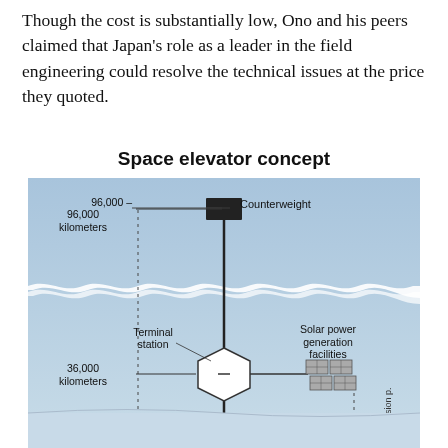Though the cost is substantially low, Ono and his peers claimed that Japan’s role as a leader in the field engineering could resolve the technical issues at the price they quoted.
[Figure (infographic): Space elevator concept diagram showing a cable extending from Earth's surface up to a counterweight at 96,000 kilometers, with a terminal station and solar power generation facilities at 36,000 kilometers (geostationary orbit). The background shows a light blue sky/space gradient with a wavy white line representing clouds or the atmosphere boundary.]
Space elevator concept